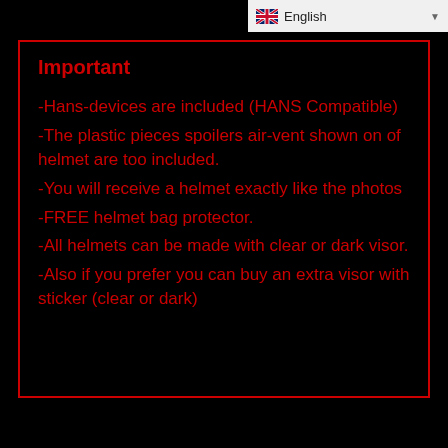English
Important
-Hans-devices are included (HANS Compatible)
-The plastic pieces spoilers air-vent shown on of helmet are too included.
-You will receive a helmet exactly like the photos
-FREE helmet bag protector.
-All helmets can be made with clear or dark visor.
-Also if you prefer you can buy an extra visor with sticker (clear or dark)